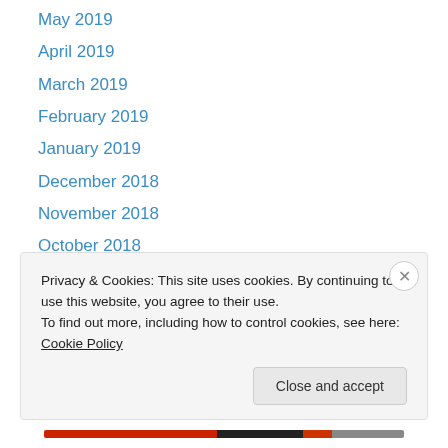May 2019
April 2019
March 2019
February 2019
January 2019
December 2018
November 2018
October 2018
September 2018
August 2018
July 2018
June 2018
May 2018
Privacy & Cookies: This site uses cookies. By continuing to use this website, you agree to their use. To find out more, including how to control cookies, see here: Cookie Policy
Close and accept